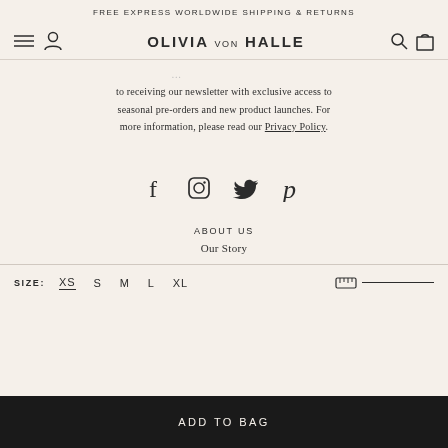FREE EXPRESS WORLDWIDE SHIPPING & RETURNS
OLIVIA VON HALLE
to receiving our newsletter with exclusive access to seasonal pre-orders and new product launches. For more information, please read our Privacy Policy.
[Figure (other): Social media icons: Facebook, Instagram, Twitter, Pinterest]
ABOUT US
Our Story
SIZE: XS S M L XL
ADD TO BAG